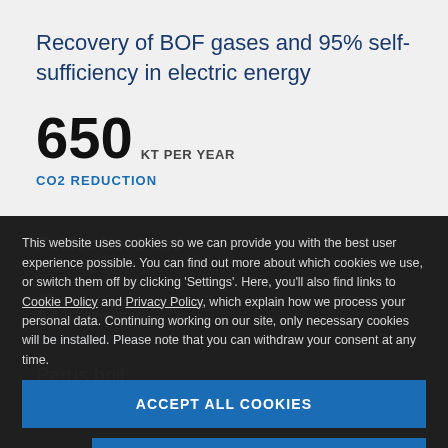Recovery of BOF gases and 95% self-sufficiency in electric energy
650 KT PER YEAR
CO2 REDUCTION
Putilov No. 1 and Boiler No. 12
8 KT PER YEAR
CO2 REDUCTION
Parus boil
This website uses cookies so we can provide you with the best user experience possible. You can find out more about which cookies we use, or switch them off by clicking 'Settings'. Here, you'll also find links to Cookie Policy and Privacy Policy, which explain how we process your personal data. Continuing working on our site, only necessary cookies will be installed. Please note that you can withdraw your consent at any time.
ACCEPT ALL COOKIES
SETTINGS